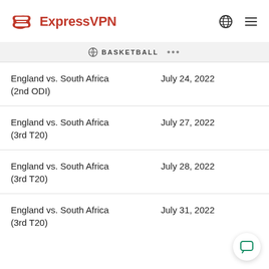ExpressVPN
BASKETBALL ...
England vs. South Africa (2nd ODI)   July 24, 2022
England vs. South Africa (3rd T20)   July 27, 2022
England vs. South Africa (3rd T20)   July 28, 2022
England vs. South Africa (3rd T20)   July 31, 2022